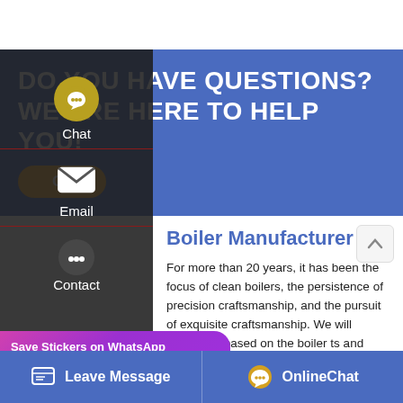DO YOU HAVE QUESTIONS? WE ARE HERE TO HELP YOU!
[Figure (screenshot): Online Chat button (gold/orange pill-shaped button with chat icon)]
[Figure (screenshot): Left sidebar with dark background showing Chat, Email, and Contact options with icons]
Boiler Manufacturer
For more than 20 years, it has been the focus of clean boilers, the persistence of precision craftsmanship, and the pursuit of exquisite craftsmanship. We will always be based on the boiler ts and sophisticated technology, to give t and trust.
[Figure (screenshot): WhatsApp popup overlay with purple/pink gradient background, Save Stickers on WhatsApp label, phone icon and emoji icon]
[Figure (screenshot): Bottom blue bar with Leave Message button on left and OnlineChat button on right]